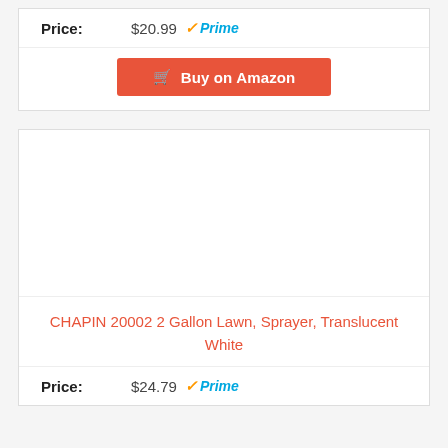Price: $20.99 ✓Prime
Buy on Amazon
[Figure (photo): Product image area (blank/white) for CHAPIN 20002 2 Gallon Lawn Sprayer]
CHAPIN 20002 2 Gallon Lawn, Sprayer, Translucent White
Price: $24.79 ✓Prime